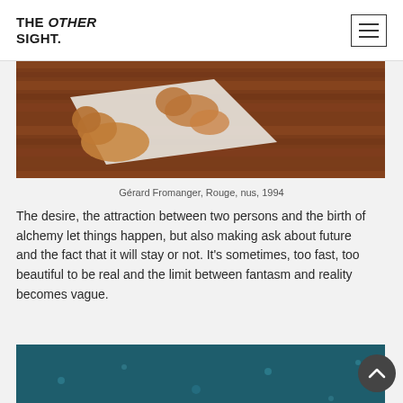THE OTHER SIGHT.
[Figure (photo): Two nude figures on a white surface on a wooden floor, viewed from above — warm reddish-brown wood tones]
Gérard Fromanger, Rouge, nus, 1994
The desire, the attraction between two persons and the birth of alchemy let things happen, but also making ask about future and the fact that it will stay or not. It's sometimes, too fast, too beautiful to be real and the limit between fantasm and reality becomes vague.
[Figure (photo): Dark teal/blue background with scattered small light bokeh dots, partial view at bottom of page]